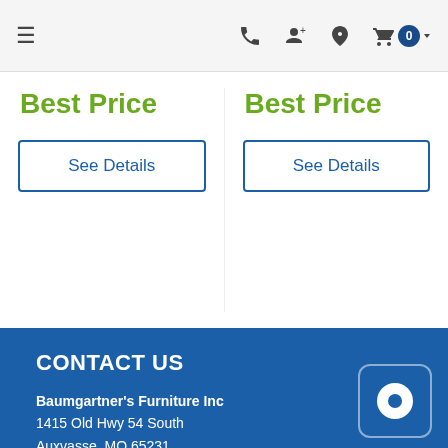Navigation bar with hamburger menu, phone, account, location, and cart icons
Best Price
See Details
Best Price
See Details
CONTACT US
Baumgartner's Furniture Inc
1415 Old Hwy 54 South
Auxvasse, MO 65231

(800) 366-2131

sales@baumgartners.com